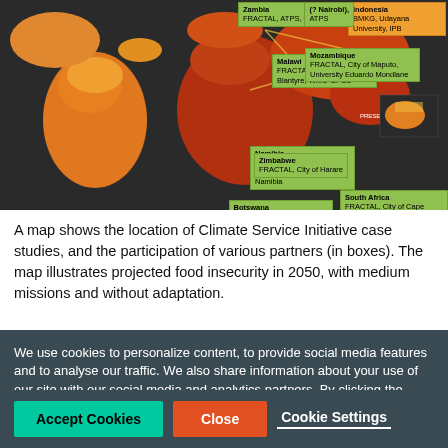[Figure (map): A world map (dark background) showing Climate Service Initiative case study locations with labeled boxes for various African and Asian countries including Zambia, Malawi, Namibia, South Africa, Mozambique, Zimbabwe, Botswana, and Indonesia, with projected food insecurity coloring.]
A map shows the location of Climate Service Initiative case studies, and the participation of various partners (in boxes). The map illustrates projected food insecurity in 2050, with medium missions and without adaptation.
We use cookies to personalize content, to provide social media features and to analyse our traffic. We also share information about your use of our site with our social media and analytics partners. By clicking the close button, you do not accept cookies for this website. Some functions of this website may not work without cookies.- Read our cookie notice